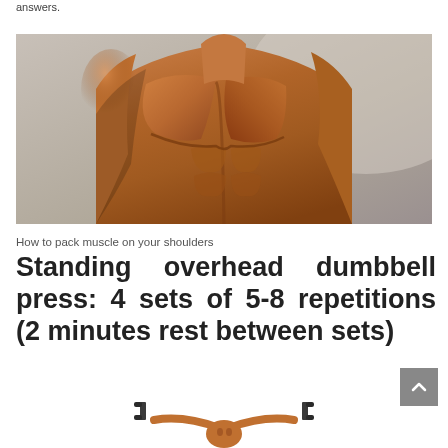answers.
[Figure (photo): Close-up of a muscular male torso and shoulders, shirtless, studio lighting with grey background]
How to pack muscle on your shoulders
Standing overhead dumbbell press: 4 sets of 5-8 repetitions (2 minutes rest between sets)
[Figure (photo): Person performing standing overhead dumbbell press exercise, holding dumbbells overhead, partial view at bottom of page]